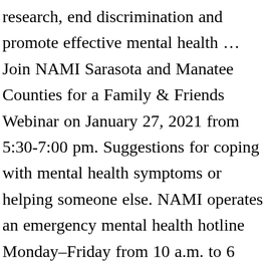research, end discrimination and promote effective mental health … Join NAMI Sarasota and Manatee Counties for a Family & Friends Webinar on January 27, 2021 from 5:30-7:00 pm. Suggestions for coping with mental health symptoms or helping someone else. NAMI operates an emergency mental health hotline Monday–Friday from 10 a.m. to 6 p.m. EST. We can help identify options, but can't provide specific recommendations for things like treatment. NAMI The NAMI Information HelpLine can be reached